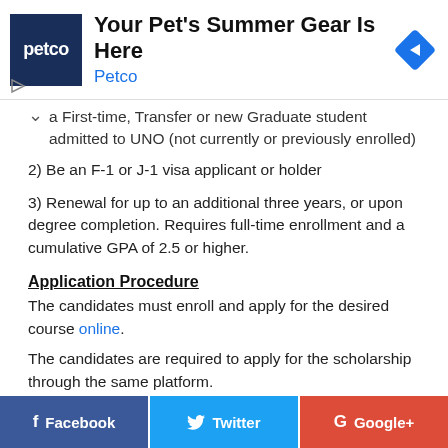[Figure (other): Petco advertisement banner: 'Your Pet's Summer Gear Is Here' with Petco logo and navigation icon]
a First-time, Transfer or new Graduate student admitted to UNO (not currently or previously enrolled)
2) Be an F-1 or J-1 visa applicant or holder
3) Renewal for up to an additional three years, or upon degree completion. Requires full-time enrollment and a cumulative GPA of 2.5 or higher.
Application Procedure
The candidates must enroll and apply for the desired course online.
The candidates are required to apply for the scholarship through the same platform.
[Figure (other): Social media share buttons: Facebook, Twitter, Google+]